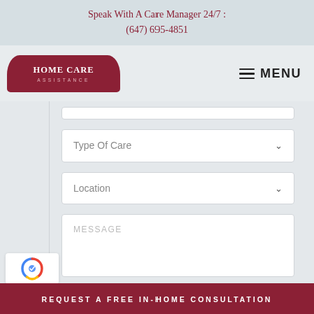Speak With A Care Manager 24/7 :
(647) 695-4851
[Figure (logo): Home Care Assistance logo badge with dark red background and rounded top border]
MENU
[Figure (screenshot): Partial form field (cut off at top)]
Type Of Care
Location
MESSAGE
[Figure (other): reCAPTCHA logo badge]
REQUEST A FREE IN-HOME CONSULTATION